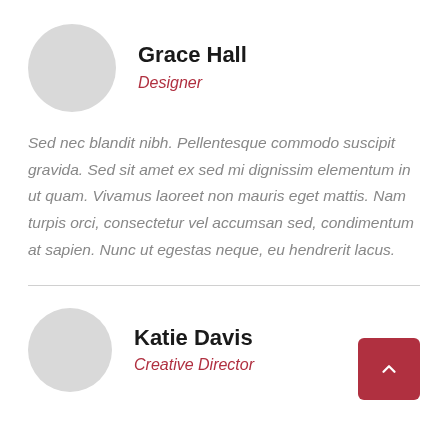[Figure (illustration): Circular gray avatar placeholder for Grace Hall]
Grace Hall
Designer
Sed nec blandit nibh. Pellentesque commodo suscipit gravida. Sed sit amet ex sed mi dignissim elementum in ut quam. Vivamus laoreet non mauris eget mattis. Nam turpis orci, consectetur vel accumsan sed, condimentum at sapien. Nunc ut egestas neque, eu hendrerit lacus.
[Figure (illustration): Circular gray avatar placeholder for Katie Davis]
Katie Davis
Creative Director